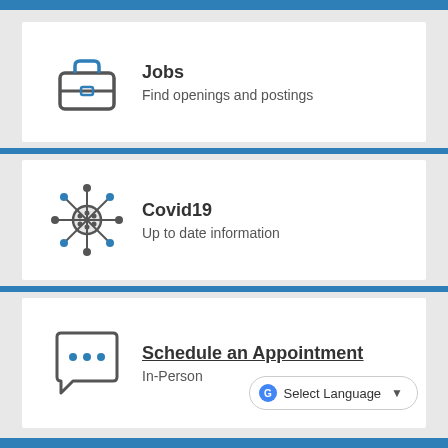[Figure (illustration): Briefcase icon with blue handle]
Jobs
Find openings and postings
[Figure (illustration): Coronavirus/Covid19 virus particle icon with spikes]
Covid19
Up to date information
[Figure (illustration): Chat bubble with three dots icon]
Schedule an Appointment
In-Person
Select Language